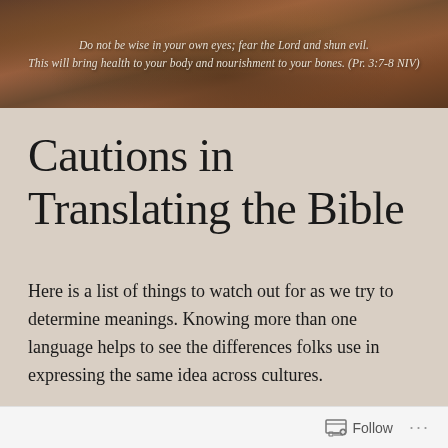[Figure (photo): Dark reddish-brown rocky landscape photo used as a header background]
Do not be wise in your own eyes; fear the Lord and shun evil. This will bring health to your body and nourishment to your bones. (Pr. 3:7-8 NIV)
Cautions in Translating the Bible
Here is a list of things to watch out for as we try to determine meanings. Knowing more than one language helps to see the differences folks use in expressing the same idea across cultures.
Follow ...